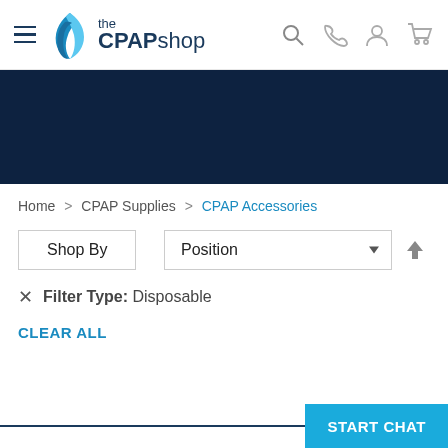the CPAPshop — navigation header with hamburger menu, logo, search, phone, account, and cart icons
[Figure (screenshot): Dark navy blue banner area]
Home > CPAP Supplies > CPAP Accessories
Shop By | Position (sort dropdown) ↑
× Filter Type: Disposable
CLEAR ALL
START CHAT